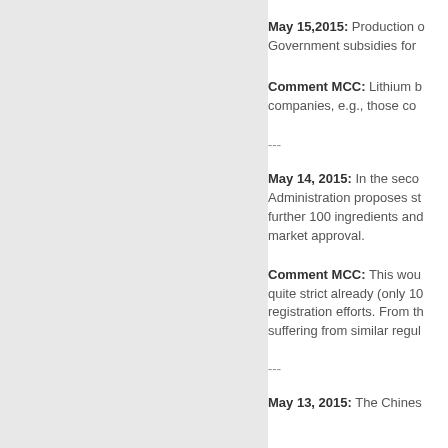May 15,2015: Production ... Government subsidies for ...
Comment MCC: Lithium b... companies, e.g., those co...
---
May 14, 2015: In the seco... Administration proposes s... further 100 ingredients and... market approval.
Comment MCC: This wou... quite strict already (only 10... registration efforts. From th... suffering from similar regu...
---
May 13, 2015: The Chines...